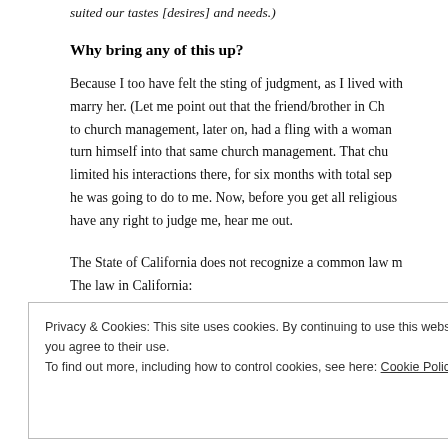suited our tastes [desires] and needs.)
Why bring any of this up?
Because I too have felt the sting of judgment, as I lived with a woman I intended to marry her. (Let me point out that the friend/brother in Christ who reported me to church management, later on, had a fling with a woman and didn't even have to turn himself into that same church management. That church management limited his interactions there, for six months with total separation.) Funny what he was going to do to me. Now, before you get all religious and think you have any right to judge me, hear me out.
The State of California does not recognize a common law marriage. The law in California:
Privacy & Cookies: This site uses cookies. By continuing to use this website, you agree to their use.
To find out more, including how to control cookies, see here: Cookie Policy
Close and accept